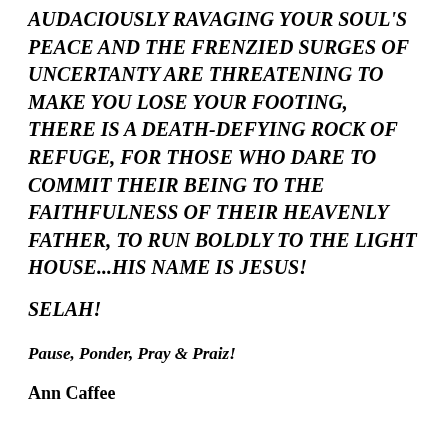AUDACIOUSLY RAVAGING YOUR SOUL'S PEACE AND THE FRENZIED SURGES OF UNCERTANTY ARE THREATENING TO MAKE YOU LOSE YOUR FOOTING, THERE IS A DEATH-DEFYING ROCK OF REFUGE, FOR THOSE WHO DARE TO COMMIT THEIR BEING TO THE FAITHFULNESS OF THEIR HEAVENLY FATHER, TO RUN BOLDLY TO THE LIGHT HOUSE...HIS NAME IS JESUS!
SELAH!
Pause, Ponder, Pray & Praiz!
Ann Caffee